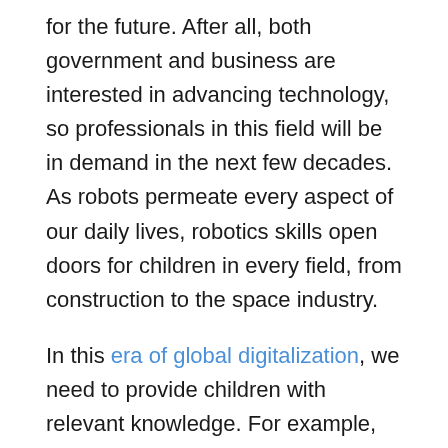for the future. After all, both government and business are interested in advancing technology, so professionals in this field will be in demand in the next few decades. As robots permeate every aspect of our daily lives, robotics skills open doors for children in every field, from construction to the space industry.
In this era of global digitalization, we need to provide children with relevant knowledge. For example, technology lessons can include robotics. Such scenarios for changing the school curriculum are already being considered by experts. If a child is really interested in robotics, makes progress and develops further in this direction, then in the future he or she will be able to master some of the most in-demand and high-tech professions. Such professions include, for example, robotics engineer, developer of nanorobots or medical devices, creator of combat robots and more, and so on...